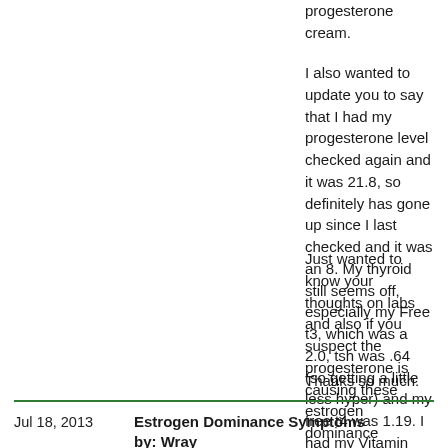progesterone cream.
I also wanted to update you to say that I had my progesterone level checked again and it was 21.8, so definitely has gone up since I last checked and it was an 8. My thyroid still seems off, especially my Free t3, which was a 2.0, tsh was .64 (so getting a little less hyper) and my free t4 was 1.19. I had my Vitamin B12 checked and it was 744 (lab reference range of 211-946) and an iodine urine test which was 168.7 (lab range 28-544).
Just wanted to know your thoughts on labs and also if you suspect the progesterone is causing these estrogen dominance symptoms to appear, most of which I've never had before in my life...and what your suggestion is.
Thanks so much.
Jul 18, 2013
Estrogen Dominance Symptoms by: Wray
Hi Jessice As I said to you before, your